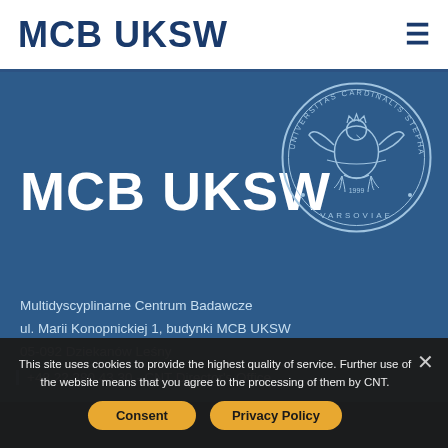MCB UKSW
MCB UKSW
[Figure (logo): University seal - Universitas Cardinalis Stephani Wyszynski Varsoviae circular emblem with eagle]
Multidyscyplinarne Centrum Badawcze
ul. Marii Konopnickiej 1, budynki MCB UKSW
05-092 Dziekanów Leśny
+48 22 380 43 30 - CNT Director's Office
This site uses cookies to provide the highest quality of service. Further use of the website means that you agree to the processing of them by CNT.